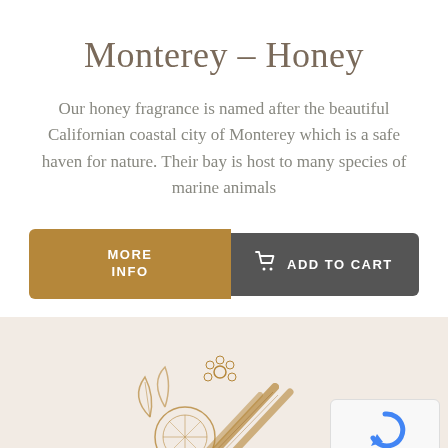Monterey – Honey
Our honey fragrance is named after the beautiful Californian coastal city of Monterey which is a safe haven for nature. Their bay is host to many species of marine animals
[Figure (infographic): Two buttons side by side: a golden-brown 'MORE INFO' button and a dark gray 'ADD TO CART' button with a shopping cart icon]
[Figure (illustration): Line art illustration of citrus fruits, cinnamon sticks, and flowers in a warm honey/amber color on a beige background]
[Figure (other): reCAPTCHA privacy badge with blue spinning arrow icon and 'Privacy · Terms' text]